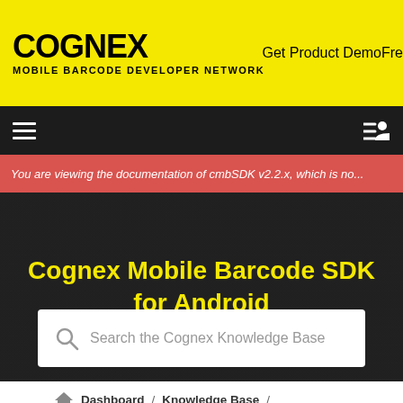COGNEX MOBILE BARCODE DEVELOPER NETWORK
Get Product DemoFre
You are viewing the documentation of cmbSDK v2.2.x, which is no...
Cognex Mobile Barcode SDK for Android
Search the Cognex Knowledge Base
Dashboard / Knowledge Base /
Cognex Mobile Barcode SDK for Android